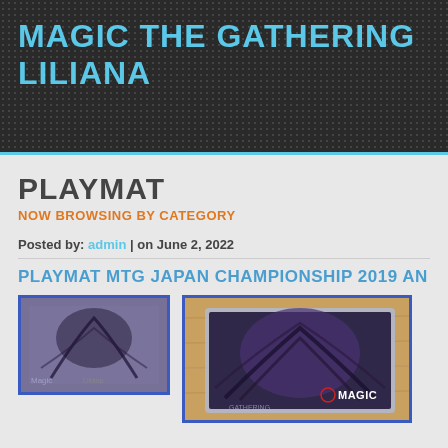MAGIC THE GATHERING LILIANA
PLAYMAT
NOW BROWSING BY CATEGORY
Posted by: admin | on June 2, 2022
PLAYMAT MTG JAPAN CHAMPIONSHIP 2019 AN...
[Figure (photo): Thumbnail image of a Magic The Gathering Liliana playmat in packaging]
[Figure (photo): Larger image of a Magic The Gathering Liliana Japan Championship 2019 playmat in clear plastic packaging on a wooden surface, showing the Magic logo]